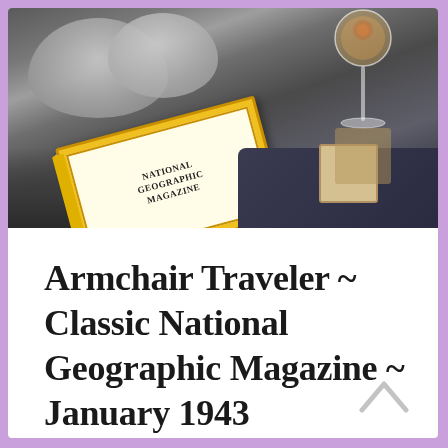[Figure (photo): A National Geographic Magazine from January 1943 resting on a dark leather couch with grey pillows. A decorated wine glass with a fox design sits on a dark side table with a coaster nearby.]
Armchair Traveler ~ Classic National Geographic Magazine ~ January 1943
November 16, 2019  Journeys with EileenDiane